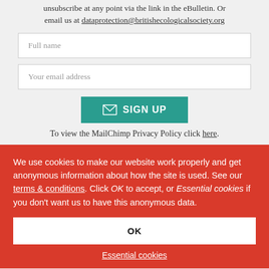unsubscribe at any point via the link in the eBulletin. Or email us at dataprotection@britishecologicalsociety.org
Full name
Your email address
SIGN UP
To view the MailChimp Privacy Policy click here.
We use cookies to make our website work properly and get anonymous information about how the site is used. See our terms & conditions. Click OK to accept, or Essential cookies if you don't want us to have this anonymous data.
OK
Essential cookies